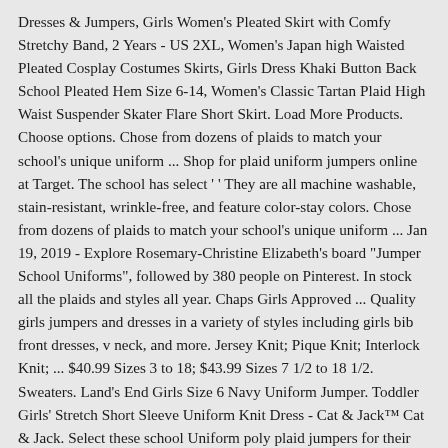Dresses & Jumpers, Girls Women's Pleated Skirt with Comfy Stretchy Band, 2 Years - US 2XL, Women's Japan high Waisted Pleated Cosplay Costumes Skirts, Girls Dress Khaki Button Back School Pleated Hem Size 6-14, Women's Classic Tartan Plaid High Waist Suspender Skater Flare Short Skirt. Load More Products. Choose options. Chose from dozens of plaids to match your school's unique uniform ... Shop for plaid uniform jumpers online at Target. The school has select ' ' They are all machine washable, stain-resistant, wrinkle-free, and feature color-stay colors. Chose from dozens of plaids to match your school's unique uniform ... Jan 19, 2019 - Explore Rosemary-Christine Elizabeth's board "Jumper School Uniforms", followed by 380 people on Pinterest. In stock all the plaids and styles all year. Chaps Girls Approved ... Quality girls jumpers and dresses in a variety of styles including girls bib front dresses, v neck, and more. Jersey Knit; Pique Knit; Interlock Knit; ... $40.99 Sizes 3 to 18; $43.99 Sizes 7 1/2 to 18 1/2. Sweaters. Land's End Girls Size 6 Navy Uniform Jumper. Toddler Girls' Stretch Short Sleeve Uniform Knit Dress - Cat & Jack™ Cat & Jack. Select these school Uniform poly plaid jumpers for their attractive appearance and for the requirement of school uniform policy for private and parochial schools. SchoolUniforms.com. $15.00. 800-227-3215 8002273215 | LOCATION | QUESTIONS? Includes school logo